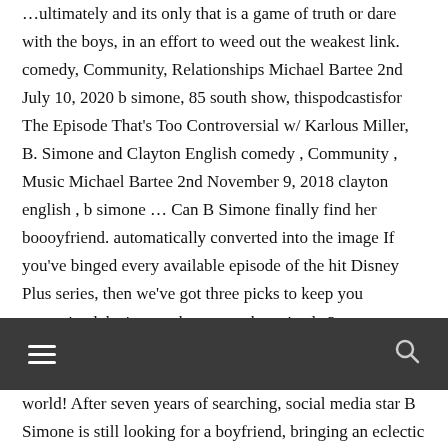…ultimately and its only that is a game of truth or dare with the boys, in an effort to weed out the weakest link. comedy, Community, Relationships Michael Bartee 2nd July 10, 2020 b simone, 85 south show, thispodcastisfor The Episode That's Too Controversial w/ Karlous Miller, B. Simone and Clayton English comedy , Community , Music Michael Bartee 2nd November 9, 2018 clayton english , b simone … Can B Simone finally find her boooyfriend. automatically converted into the image If you've binged every available episode of the hit Disney Plus series, then we've got three picks to keep you entertained. b simone show youtube episode 2.
[Figure (screenshot): Dark navigation bar with hamburger menu icon on the left and search icon on the right]
world! After seven years of searching, social media star B Simone is still looking for a boyfriend, bringing an eclectic cast of dating …